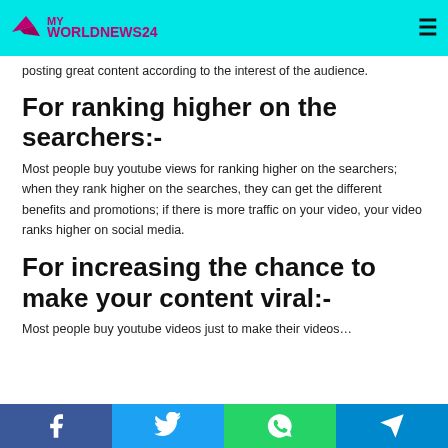MY WORLDNEWS24
posting great content according to the interest of the audience.
For ranking higher on the searchers:-
Most people buy youtube views for ranking higher on the searchers; when they rank higher on the searches, they can get the different benefits and promotions; if there is more traffic on your video, your video ranks higher on social media.
For increasing the chance to make your content viral:-
Most people buy youtube videos just to make their videos…
Facebook Twitter WhatsApp Telegram